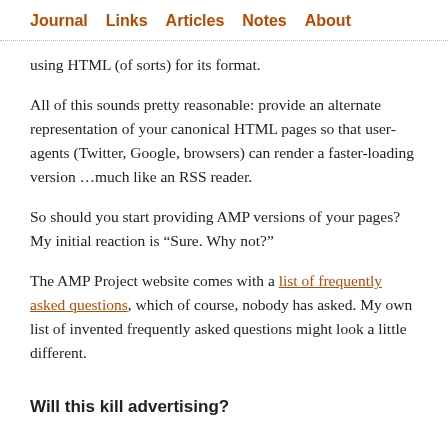Journal   Links   Articles   Notes   About
using HTML (of sorts) for its format.
All of this sounds pretty reasonable: provide an alternate representation of your canonical HTML pages so that user-agents (Twitter, Google, browsers) can render a faster-loading version …much like an RSS reader.
So should you start providing AMP versions of your pages? My initial reaction is “Sure. Why not?”
The AMP Project website comes with a list of frequently asked questions, which of course, nobody has asked. My own list of invented frequently asked questions might look a little different.
Will this kill advertising?